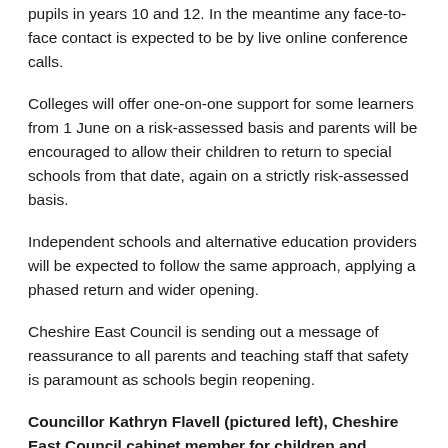pupils in years 10 and 12. In the meantime any face-to-face contact is expected to be by live online conference calls.
Colleges will offer one-on-one support for some learners from 1 June on a risk-assessed basis and parents will be encouraged to allow their children to return to special schools from that date, again on a strictly risk-assessed basis.
Independent schools and alternative education providers will be expected to follow the same approach, applying a phased return and wider opening.
Cheshire East Council is sending out a message of reassurance to all parents and teaching staff that safety is paramount as schools begin reopening.
Councillor Kathryn Flavell (pictured left), Cheshire East Council cabinet member for children and families, said: